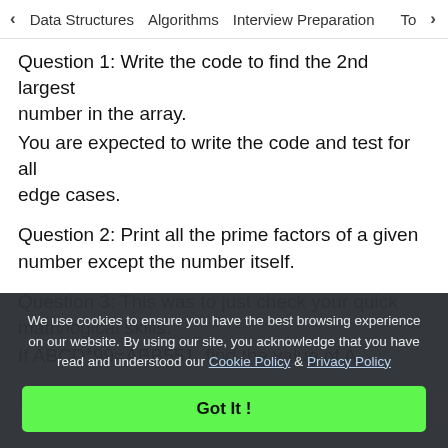< Data Structures   Algorithms   Interview Preparation   To>
Question 1: Write the code to find the 2nd largest number in the array.
You are expected to write the code and test for all edge cases.
Question 2: Print all the prime factors of a given number except the number itself.
Question 3: This was to just check your quick math/logical skills.
If ABCD*99=ABB551, find the value of A.
I had a discussion with the interviewer regarding...
We use cookies to ensure you have the best browsing experience on our website. By using our site, you acknowledge that you have read and understood our Cookie Policy & Privacy Policy
Got It !